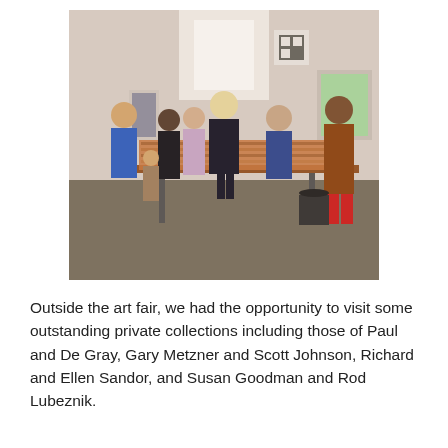[Figure (photo): Indoor art fair or gallery event showing a group of people standing around a long table with stacked artworks or frames. Multiple attendees visible in conversation. Gallery walls visible in background.]
Outside the art fair, we had the opportunity to visit some outstanding private collections including those of Paul and De Gray, Gary Metzner and Scott Johnson, Richard and Ellen Sandor, and Susan Goodman and Rod Lubeznik.